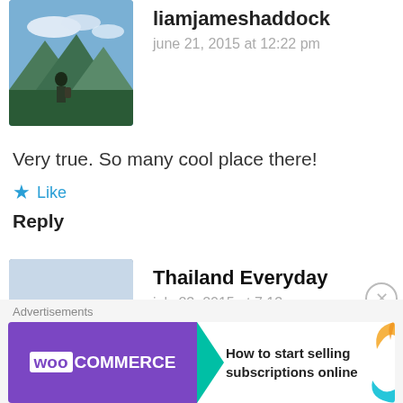[Figure (photo): Avatar photo of liamjameshaddock - landscape/mountain scene with person]
liamjameshaddock
june 21, 2015 at 12:22 pm
Very true. So many cool place there!
★ Like
Reply
[Figure (photo): Avatar photo of Thailand Everyday - person sitting outside]
Thailand Everyday
july 23, 2015 at 7:13 am
Hi there, very nice blog on a beautiful little town.
Advertisements
[Figure (other): WooCommerce advertisement banner: How to start selling subscriptions online]